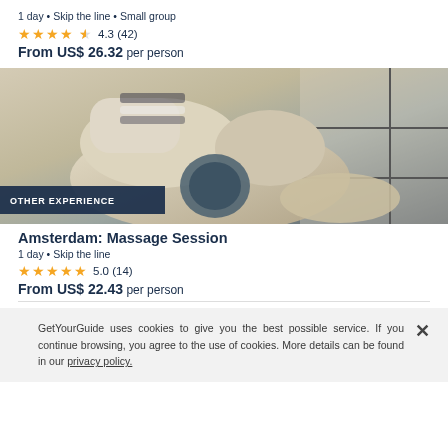1 day • Skip the line • Small group
4.3 (42)
From US$ 26.32 per person
[Figure (photo): A cream/beige massage chair in a modern room with black grid-pattern walls. A person in striped shirt is seated in the chair. Badge reads: OTHER EXPERIENCE]
Amsterdam: Massage Session
1 day • Skip the line
5.0 (14)
From US$ 22.43 per person
GetYourGuide uses cookies to give you the best possible service. If you continue browsing, you agree to the use of cookies. More details can be found in our privacy policy.